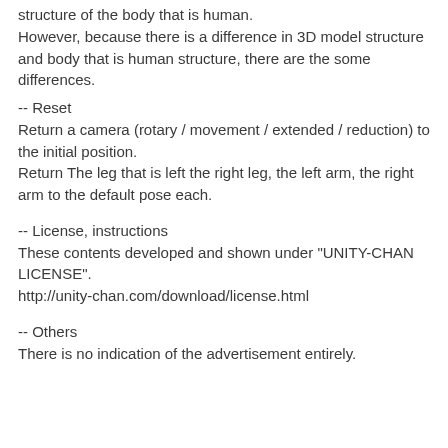structure of the body that is human. However, because there is a difference in 3D model structure and body that is human structure, there are the some differences.
-- Reset
Return a camera (rotary / movement / extended / reduction) to the initial position.
Return The leg that is left the right leg, the left arm, the right arm to the default pose each.
-- License, instructions
These contents developed and shown under "UNITY-CHAN LICENSE".
http://unity-chan.com/download/license.html
-- Others
There is no indication of the advertisement entirely.